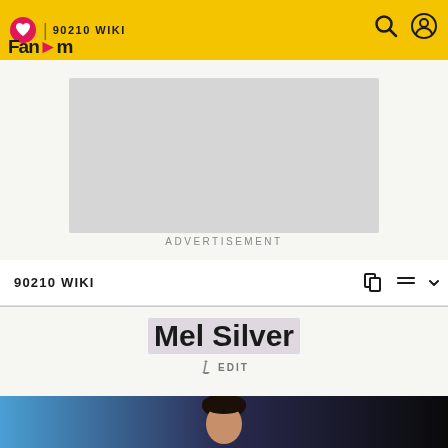90210 WIKI | Fandom
[Figure (other): Advertisement placeholder – grey rectangle]
ADVERTISEMENT
90210 WIKI
Mel Silver
EDIT
[Figure (photo): Photo of Mel Silver – person with dark hair against blue and black background]